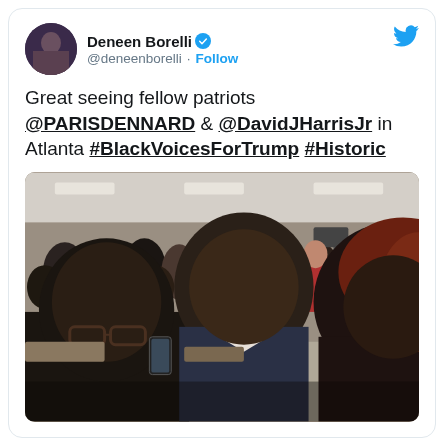Deneen Borelli @deneenborelli · Follow
Great seeing fellow patriots @PARISDENNARD & @DavidJHarrisJr in Atlanta #BlackVoicesForTrump #Historic
[Figure (photo): Selfie photo of three people smiling at a large indoor event or conference hall with many attendees and camera crews in the background.]